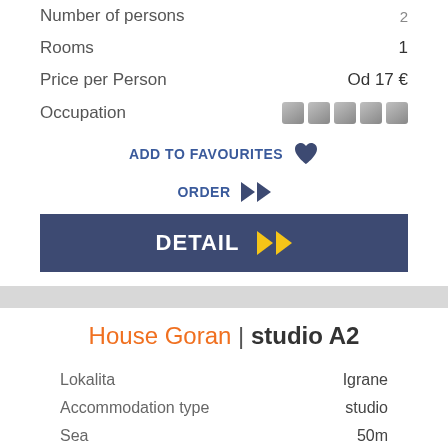Number of persons  2
Rooms  1
Price per Person  Od 17 €
Occupation  [occupation boxes]
ADD TO FAVOURITES ♥
ORDER ▶▶
DETAIL ▶▶
House Goran | studio A2
Lokalita  Igrane
Accommodation type  studio
Sea  50m
Studio ID  438
Number of persons  2